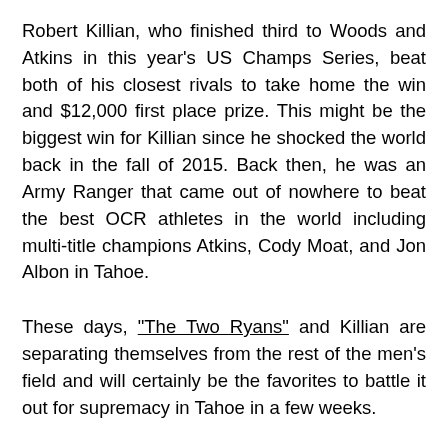Robert Killian, who finished third to Woods and Atkins in this year's US Champs Series, beat both of his closest rivals to take home the win and $12,000 first place prize. This might be the biggest win for Killian since he shocked the world back in the fall of 2015. Back then, he was an Army Ranger that came out of nowhere to beat the best OCR athletes in the world including multi-title champions Atkins, Cody Moat, and Jon Albon in Tahoe.
These days, "The Two Ryans" and Killian are separating themselves from the rest of the men's field and will certainly be the favorites to battle it out for supremacy in Tahoe in a few weeks.
On the women's side, Lindsay continues her world domination with a smile on her face beating out the